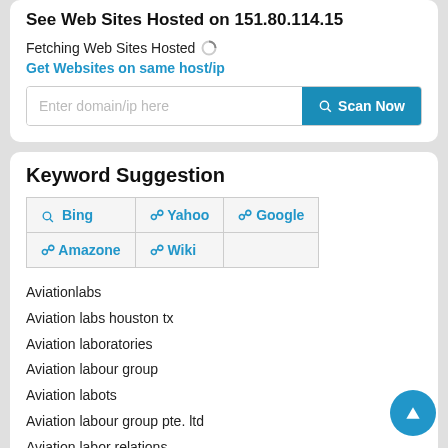See Web Sites Hosted on 151.80.114.15
Fetching Web Sites Hosted
Get Websites on same host/ip
Enter domain/ip here
Keyword Suggestion
Bing | Yahoo | Google | Amazone | Wiki
Aviationlabs
Aviation labs houston tx
Aviation laboratories
Aviation labour group
Aviation labots
Aviation labour group pte. ltd
Aviation labor relations